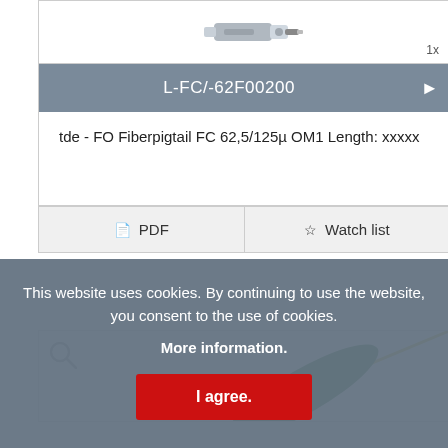[Figure (photo): Partial view of a fiber optic connector (FC type) photographed against white background. Quantity badge '1x' visible in bottom-right corner.]
L-FC/-62F00200
tde - FO Fiberpigtail FC 62,5/125µ OM1 Length: xxxxx
PDF
Watch list
[Figure (photo): Partial view of a fiber optic pigtail with green jacket and yellow fiber tip, photographed diagonally against white background. Magnifying glass icon in top-left corner.]
This website uses cookies. By continuing to use the website, you consent to the use of cookies.
More information.
I agree.